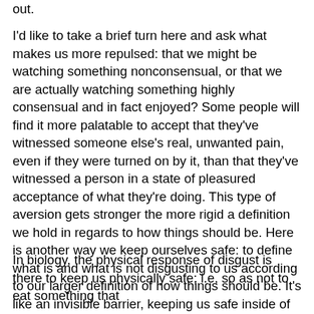out.
I'd like to take a brief turn here and ask what makes us more repulsed: that we might be watching something nonconsensual, or that we are actually watching something highly consensual and in fact enjoyed? Some people will find it more palatable to accept that they've witnessed someone else's real, unwanted pain, even if they were turned on by it, than that they've witnessed a person in a state of pleasured acceptance of what they're doing. This type of aversion gets stronger the more rigid a definition we hold in regards to how things should be. Here is another way we keep ourselves safe: to define what is and what is not disgusting to us according to our larger definition of how things should be. It's like an invisible barrier, keeping us safe inside of some kind of knowledge we claim as truth.
In biology, the physical response of disgust is there to keep us physically safe; i.e, so as not to eat something that